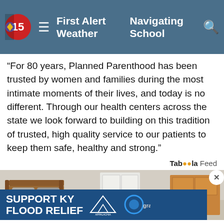First Alert Weather   Navigating School
“For 80 years, Planned Parenthood has been trusted by women and families during the most intimate moments of their lives, and today is no different. Through our health centers across the state we look forward to building on this tradition of trusted, high quality service to our patients to keep them safe, healthy and strong.”
Taboola Feed
[Figure (photo): Interior room photo showing furniture including a wooden bed frame and white cabinet, with a flood relief advertisement banner overlay reading SUPPORT KY FLOOD RELIEF with Appalachia Rises and gray logos]